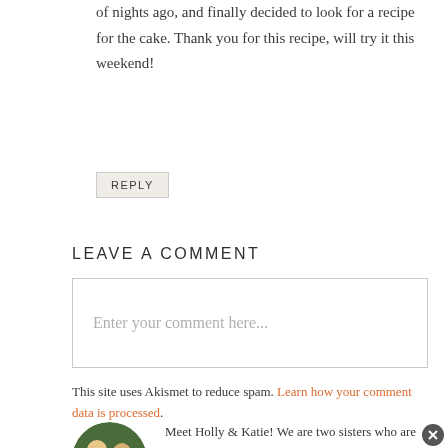of nights ago, and finally decided to look for a recipe for the cake. Thank you for this recipe, will try it this weekend!
REPLY
LEAVE A COMMENT
Enter your comment here...
This site uses Akismet to reduce spam. Learn how your comment data is processed.
Meet Holly & Katie! We are two sisters who are pretty much opposites but we both LOVE baking! We offer 500+ of our favorite